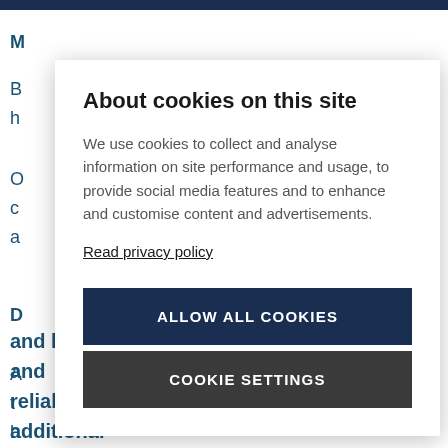About cookies on this site
We use cookies to collect and analyse information on site performance and usage, to provide social media features and to enhance and customise content and advertisements.
Read privacy policy
ALLOW ALL COOKIES
COOKIE SETTINGS
and had been impressed by their accuracy and reliability. Our new SmartWeighers give us additional